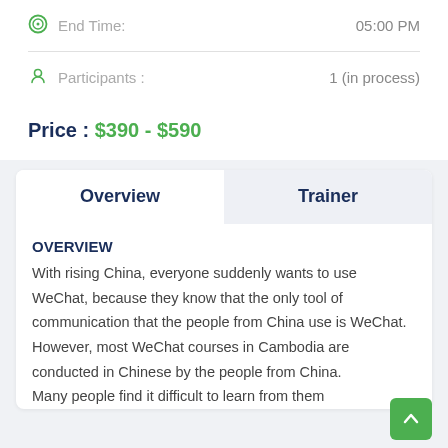End Time: 05:00 PM
Participants : 1 (in process)
Price : $390 - $590
Overview
Trainer
OVERVIEW
With rising China, everyone suddenly wants to use WeChat, because they know that the only tool of communication that the people from China use is WeChat. However, most WeChat courses in Cambodia are conducted in Chinese by the people from China. Many people find it difficult to learn from them